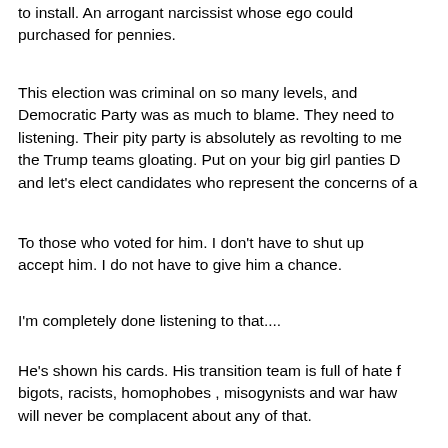to install. An arrogant narcissist whose ego could be purchased for pennies.
This election was criminal on so many levels, and the Democratic Party was as much to blame. They need to stop listening. Their pity party is absolutely as revolting to me as the Trump teams gloating. Put on your big girl panties D and let's elect candidates who represent the concerns of a
To those who voted for him. I don't have to shut up accept him. I do not have to give him a chance.
I'm completely done listening to that....
He's shown his cards. His transition team is full of hate f bigots, racists, homophobes , misogynists and war haw will never be complacent about any of that.